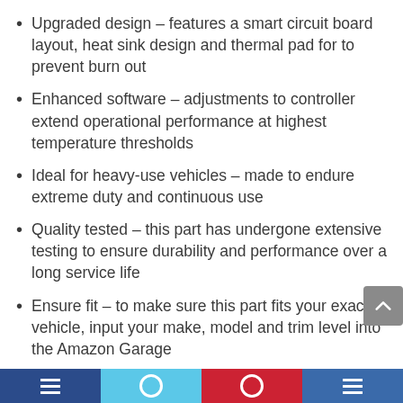Upgraded design – features a smart circuit board layout, heat sink design and thermal pad for to prevent burn out
Enhanced software – adjustments to controller extend operational performance at highest temperature thresholds
Ideal for heavy-use vehicles – made to endure extreme duty and continuous use
Quality tested – this part has undergone extensive testing to ensure durability and performance over a long service life
Ensure fit – to make sure this part fits your exact vehicle, input your make, model and trim level into the Amazon Garage